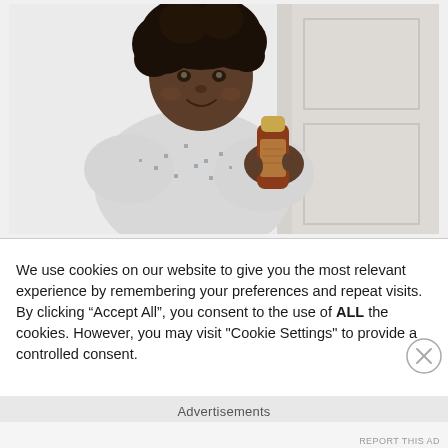[Figure (photo): A young child with curly natural hair, wearing a light grey long-sleeve top with small cross/plus patterns, holding a brown bottle with a gold cap (appears to be a hair product). The child is smiling and looking at the camera against a white/light background.]
We use cookies on our website to give you the most relevant experience by remembering your preferences and repeat visits. By clicking “Accept All”, you consent to the use of ALL the cookies. However, you may visit "Cookie Settings" to provide a controlled consent.
Advertisements